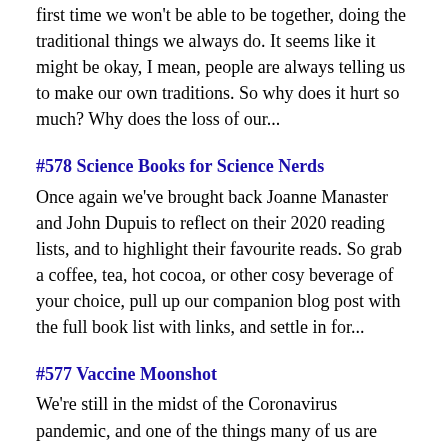first time we won't be able to be together, doing the traditional things we always do. It seems like it might be okay, I mean, people are always telling us to make our own traditions. So why does it hurt so much? Why does the loss of our...
#578 Science Books for Science Nerds
Once again we've brought back Joanne Manaster and John Dupuis to reflect on their 2020 reading lists, and to highlight their favourite reads. So grab a coffee, tea, hot cocoa, or other cosy beverage of your choice, pull up our companion blog post with the full book list with links, and settle in for...
#577 Vaccine Moonshot
We're still in the midst of the Coronavirus pandemic, and one of the things many of us are hoping for every day is more good news about a vaccine. What does the Coronavirus vaccine effort look like? How does that